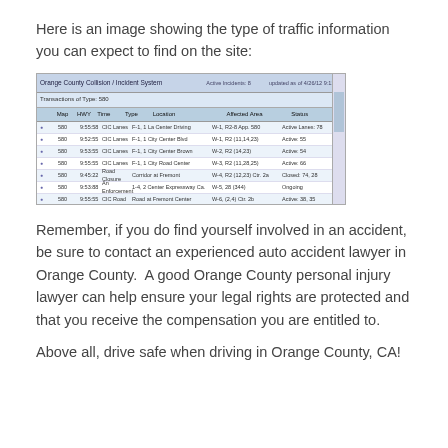Here is an image showing the type of traffic information you can expect to find on the site:
[Figure (screenshot): Screenshot of an Orange County traffic information website showing a table with traffic incident data including columns for date, time, type, location, and status. The table has alternating blue/white row colors and multiple data rows.]
Remember, if you do find yourself involved in an accident, be sure to contact an experienced auto accident lawyer in Orange County.  A good Orange County personal injury lawyer can help ensure your legal rights are protected and that you receive the compensation you are entitled to.
Above all, drive safe when driving in Orange County, CA!